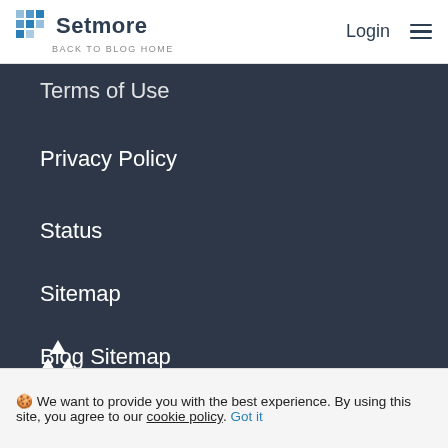Setmore | BACK TO BLOG HOME | Login
Terms of Use
Privacy Policy
Status
Sitemap
Blog Sitemap
[Figure (illustration): Tree planting logo icon — rows of white triangle trees with a blue dot]
1,289,179 trees planted
🍪 We want to provide you with the best experience. By using this site, you agree to our cookie policy. Got it